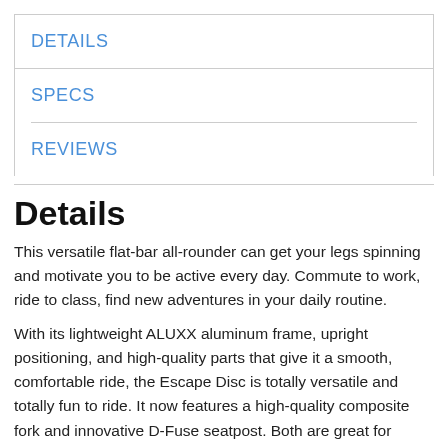DETAILS
SPECS
REVIEWS
Details
This versatile flat-bar all-rounder can get your legs spinning and motivate you to be active every day. Commute to work, ride to class, find new adventures in your daily routine.
With its lightweight ALUXX aluminum frame, upright positioning, and high-quality parts that give it a smooth, comfortable ride, the Escape Disc is totally versatile and totally fun to ride. It now features a high-quality composite fork and innovative D-Fuse seatpost. Both are great for smoothing out rough roads, absorbing shocks and